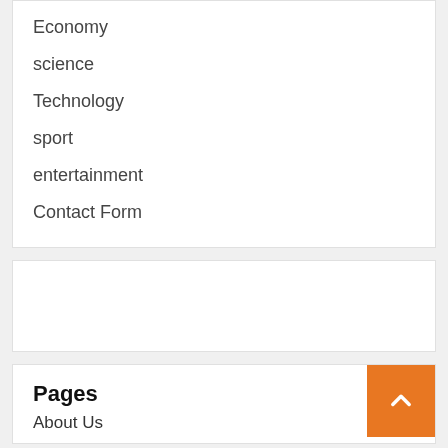Economy
science
Technology
sport
entertainment
Contact Form
Pages
About Us